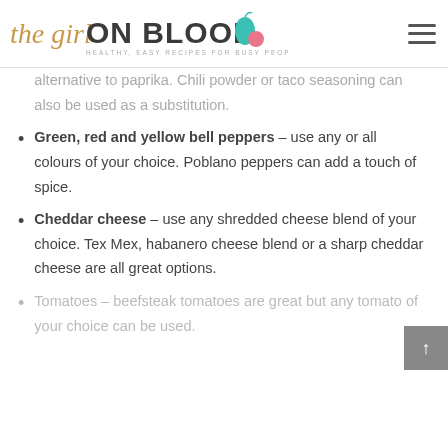The Girl on Bloor – Healthy, easy recipes for busy people!
...alternative to paprika. Chili powder or taco seasoning can also be used as a substitution.
Green, red and yellow bell peppers – use any or all colours of your choice. Poblano peppers can add a touch of spice.
Cheddar cheese – use any shredded cheese blend of your choice. Tex Mex, habanero cheese blend or a sharp cheddar cheese are all great options.
Tomatoes – beefsteak tomatoes are great but any tomato of your choice can be used.